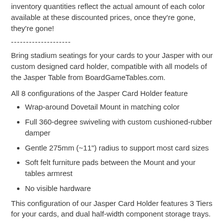inventory quantities reflect the actual amount of each color available at these discounted prices, once they're gone, they're gone!
--------------------
Bring stadium seatings for your cards to your Jasper with our custom designed card holder, compatible with all models of the Jasper Table from BoardGameTables.com.
All 8 configurations of the Jasper Card Holder feature
Wrap-around Dovetail Mount in matching color
Full 360-degree swiveling with custom cushioned-rubber damper
Gentle 275mm (~11") radius to support most card sizes
Soft felt furniture pads between the Mount and your tables armrest
No visible hardware
This configuration of our Jasper Card Holder features 3 Tiers for your cards, and dual half-width component storage trays.